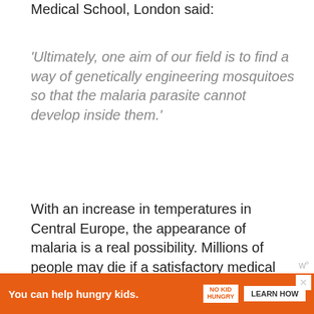Medical School, London said:
'Ultimately, one aim of our field is to find a way of genetically engineering mosquitoes so that the malaria parasite cannot develop inside them.'
With an increase in temperatures in Central Europe, the appearance of malaria is a real possibility. Millions of people may die if a satisfactory medical treatment or preventative procedure is not established very quickly. Scientists in the US say they have created a genetically engineered
You can help hungry kids. NO KID HUNGRY LEARN HOW